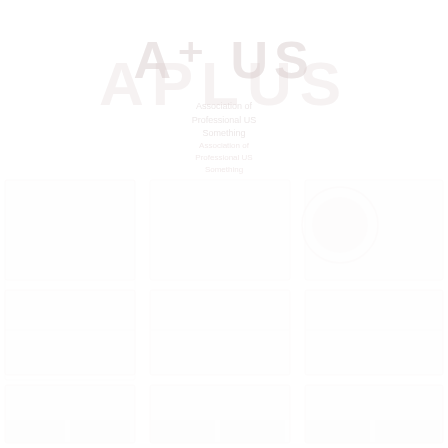[Figure (logo): APLUS watermark logo text in very light pink/rose color on white background, with subtitle text below and a faint grid of thumbnail images covering the lower portion of the page]
APLUS
Subtitle lines below logo